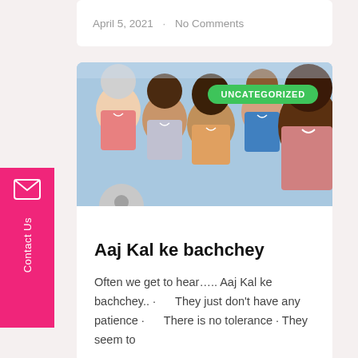April 5, 2021  ·  No Comments
[Figure (photo): Group of smiling diverse children posing together for a selfie-style photo outdoors]
Aaj Kal ke bachchey
Often we get to hear….. Aaj Kal ke bachchey.. ·      They just don't have any patience ·      There is no tolerance · They seem to